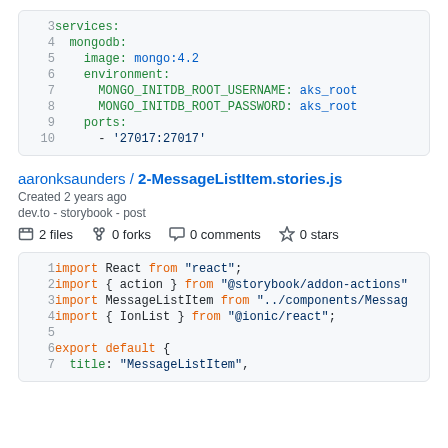[Figure (screenshot): Code block showing YAML docker-compose snippet with services, mongodb, image, environment variables and ports on lines 3-10]
aaronksaunders / 2-MessageListItem.stories.js
Created 2 years ago
dev.to - storybook - post
2 files   0 forks   0 comments   0 stars
[Figure (screenshot): Code block showing JavaScript import statements and export default on lines 1-7]